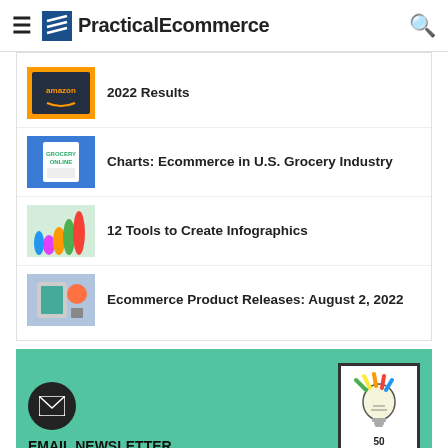PracticalEcommerce
2022 Results
Charts: Ecommerce in U.S. Grocery Industry
12 Tools to Create Infographics
Ecommerce Product Releases: August 2, 2022
[Figure (infographic): Email Newsletter + Free Ebook promotional banner with mail icon and '50 Great Ecommerce Ideas' ebook cover]
EMAIL NEWSLETTER + FREE EBOOK